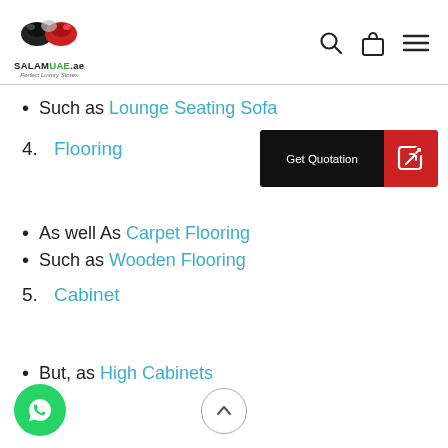SALAMUAE.ae - Perfect Luxury Stores
Such as Lounge Seating Sofa
4. Flooring
[Figure (other): Get Quotation button with black left panel and red right panel with edit icon]
As well As Carpet Flooring
Such as Wooden Flooring
5. Cabinet
[Figure (other): WhatsApp floating button (green circle)]
[Figure (other): Scroll to top button (circle with up arrow)]
But, as High Cabinets